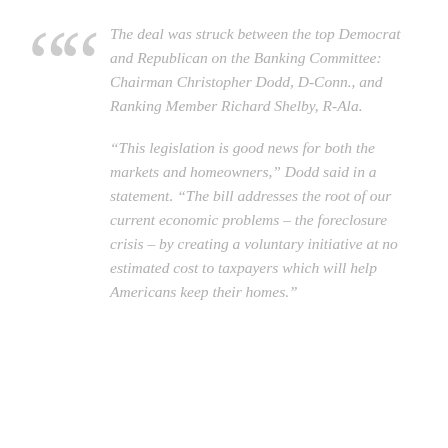The deal was struck between the top Democrat and Republican on the Banking Committee: Chairman Christopher Dodd, D-Conn., and Ranking Member Richard Shelby, R-Ala.
“This legislation is good news for both the markets and homeowners,” Dodd said in a statement. “The bill addresses the root of our current economic problems – the foreclosure crisis – by creating a voluntary initiative at no estimated cost to taxpayers which will help Americans keep their homes.”